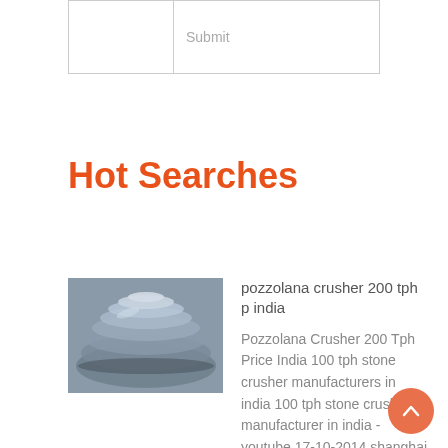|  | Submit |
| --- | --- |
|  | Submit |
Hot Searches
[Figure (photo): Close-up photo of rolled metal or industrial material, gray tones]
pozzolana crusher 200 tph p india
Pozzolana Crusher 200 Tph Price India 100 tph stone crusher manufacturers in india 100 tph stone crusher manufacturer in india - youtube 17-10-2014 shanghai chang lei has rich experience to provide clients with a full range of ore